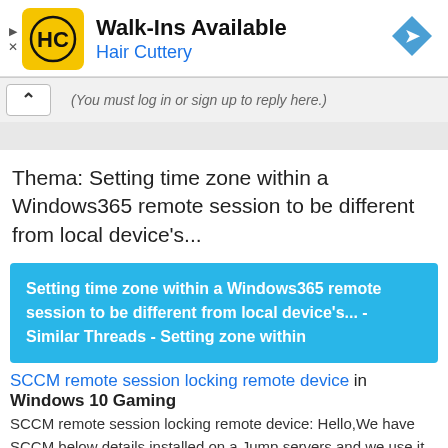[Figure (screenshot): Hair Cuttery advertisement banner with yellow square logo with HC letters, title 'Walk-Ins Available', subtitle 'Hair Cuttery', and a blue diamond navigation arrow icon on the right]
(You must log in or sign up to reply here.)
Thema: Setting time zone within a Windows365 remote session to be different from local device's...
Setting time zone within a Windows365 remote session to be different from local device's... - Similar Threads - Setting zone within
SCCM remote session locking remote device in Windows 10 Gaming
SCCM remote session locking remote device: Hello,We have SCCM below details installed on a Jump servers and we use it to connect to clients deployed in our environment.In order to connect to the devices, we connect to the Jump server first using